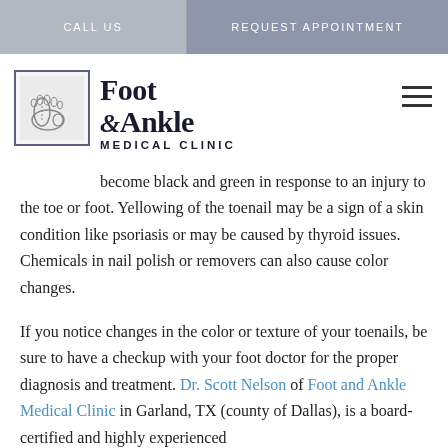CALL US | REQUEST APPOINTMENT
[Figure (logo): Foot & Ankle Medical Clinic logo with foot illustration in a bordered box]
become black and green in response to an injury to the toe or foot. Yellowing of the toenail may be a sign of a skin condition like psoriasis or may be caused by thyroid issues. Chemicals in nail polish or removers can also cause color changes.
If you notice changes in the color or texture of your toenails, be sure to have a checkup with your foot doctor for the proper diagnosis and treatment. Dr. Scott Nelson of Foot and Ankle Medical Clinic in Garland, TX (county of Dallas), is a board-certified and highly experienced